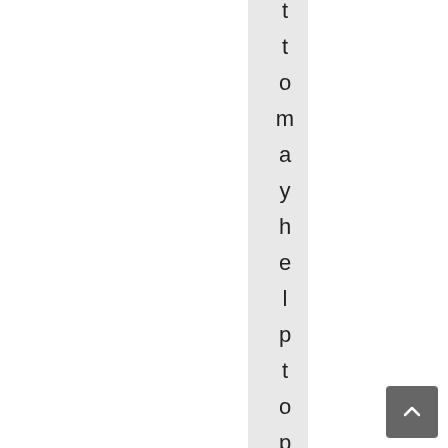to may help to promote
[Figure (other): Scroll-to-top button in bottom right corner, grey rounded square with upward chevron arrow]